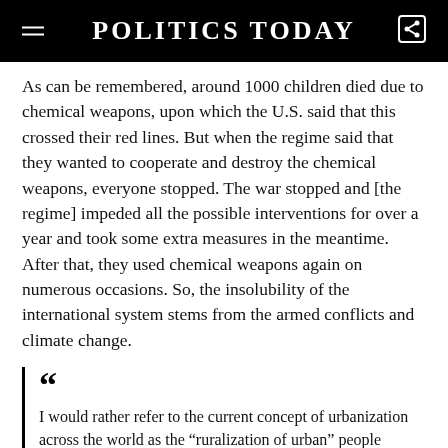POLITICS TODAY
As can be remembered, around 1000 children died due to chemical weapons, upon which the U.S. said that this crossed their red lines. But when the regime said that they wanted to cooperate and destroy the chemical weapons, everyone stopped. The war stopped and [the regime] impeded all the possible interventions for over a year and took some extra measures in the meantime. After that, they used chemical weapons again on numerous occasions. So, the insolubility of the international system stems from the armed conflicts and climate change.
“I would rather refer to the current concept of urbanization across the world as the “ruralization of urban” people because most people migrating to cities live in slums and squatter houses as their integration